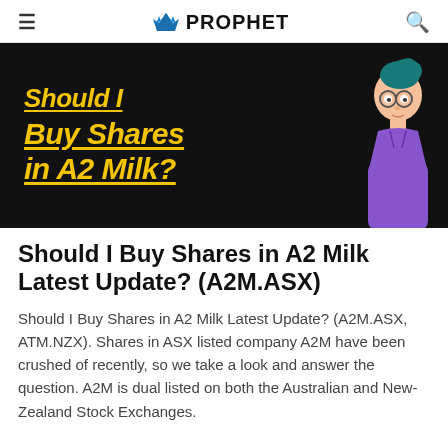≡  PROPHET  🔍
[Figure (illustration): Dark background banner image with bold yellow italic underlined text reading 'Should I Buy Shares in A2 Milk?' with a cartoon illustration of a woman with teal hair bun, glasses, and purple top on the right side.]
Should I Buy Shares in A2 Milk Latest Update? (A2M.ASX)
Should I Buy Shares in A2 Milk Latest Update? (A2M.ASX, ATM.NZX). Shares in ASX listed company A2M have been crushed of recently, so we take a look and answer the question. A2M is dual listed on both the Australian and New-Zealand Stock Exchanges.